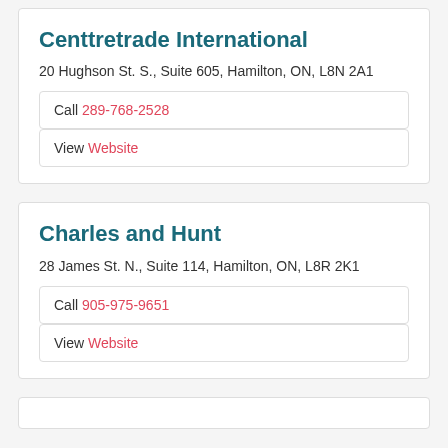Centtretrade International
20 Hughson St. S., Suite 605, Hamilton, ON, L8N 2A1
Call 289-768-2528
View Website
Charles and Hunt
28 James St. N., Suite 114, Hamilton, ON, L8R 2K1
Call 905-975-9651
View Website